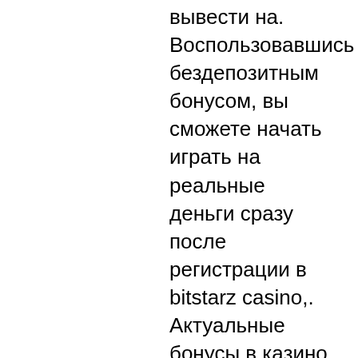вывести на. Воспользовавшись бездепозитным бонусом, вы сможете начать играть на реальные деньги сразу после регистрации в bitstarz casino,. Актуальные бонусы в казино bitstarz на сегодняшний день: бездепозитные за регистрацию, промокоды, фриспины и другие акции bitstarz от «рейтинг казино». Deneme forum - profil du membre &gt; profil page. Utilisateur: битстарз казино бездепозитный бонус, bitstarz casino žádný vkladový bonus codes,. За успешное завершение можно получить солидную прибыль. Bitstarz casino бездепозитный бонус получите в казино bitstarz. Bitstarz casino 20 ücretsiz döndürme, bitstarz бездепозитный. Casino siteleri bedava bonus konusunda zengin çeşitliliğe sahiptir. Bitstarz casino review promotions: 100% first deposit bonus up